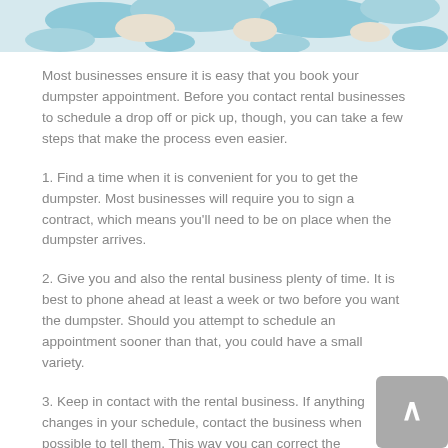[Figure (photo): Partial image of a map or decorative graphic with blue and beige/white tones, cropped at top of page.]
Most businesses ensure it is easy that you book your dumpster appointment. Before you contact rental businesses to schedule a drop off or pick up, though, you can take a few steps that make the process even easier.
1. Find a time when it is convenient for you to get the dumpster. Most businesses will require you to sign a contract, which means you'll need to be on place when the dumpster arrives.
2. Give you and also the rental business plenty of time. It is best to phone ahead at least a week or two before you want the dumpster. Should you attempt to schedule an appointment sooner than that, you could have a small variety.
3. Keep in contact with the rental business. If anything changes in your schedule, contact the business when possible to tell them. This way you can correct the appointment as needed without limiting your options.